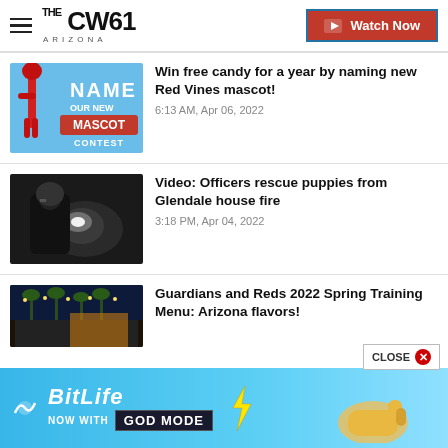The CW61 Arizona — Watch Now
[Figure (screenshot): Red Vines mascot naming contest promotional image with blue background and text NAME OUR NEW MASCOT CONTEST]
Win free candy for a year by naming new Red Vines mascot!
6:13 AM, Apr 06, 2022
[Figure (screenshot): Dark video thumbnail showing officers at a house fire scene in Glendale]
Video: Officers rescue puppies from Glendale house fire
3:18 PM, Apr 04, 2022
[Figure (screenshot): Outdoor stadium with palm trees, spring training venue]
Guardians and Reds 2022 Spring Training Menu: Arizona flavors!
[Figure (screenshot): BitLife advertisement banner — NOW WITH GOD MODE]